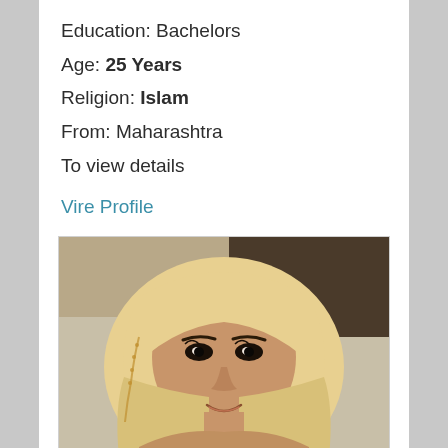Education: Bachelors
Age: 25 Years
Religion: Islam
From: Maharashtra
To view details
Vire Profile
[Figure (photo): Portrait photo of a young woman wearing a cream/golden hijab, smiling, photographed from chest up against a blurred background.]